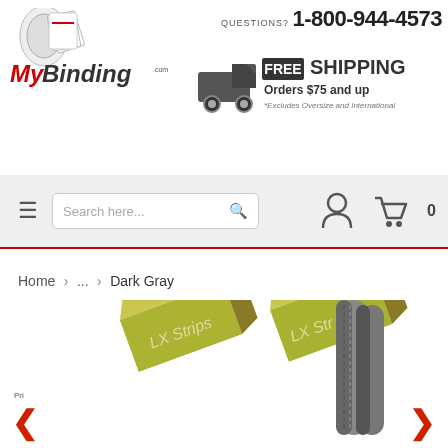[Figure (logo): MyBinding.com logo with rolled paper and document icons]
QUESTIONS? 1-800-944-4573
[Figure (infographic): Free shipping truck icon with text: FREE SHIPPING Orders $75 and up *Excludes Oversize and International]
[Figure (screenshot): Navigation bar with hamburger menu, search box, user icon and cart with 0 items]
Home > ... > Dark Gray
[Figure (photo): Product photo showing LX Strips boxes (green and orange) and dark gray binding strips, with left and right navigation arrows]